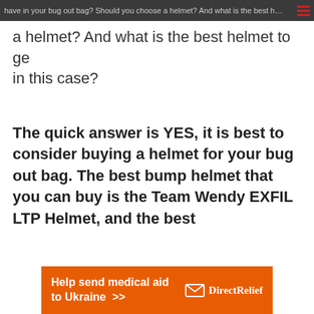have in your bug out bag? Should you choose a helmet? And what is the best helmet to get in this case?
a helmet? And what is the best helmet to get in this case?
The quick answer is YES, it is best to consider buying a helmet for your bug out bag. The best bump helmet that you can buy is the Team Wendy EXFIL LTP Helmet, and the best
[Figure (other): Orange advertisement banner for Direct Relief charity: 'Help send medical aid to Ukraine >>' with Direct Relief logo featuring an envelope icon]